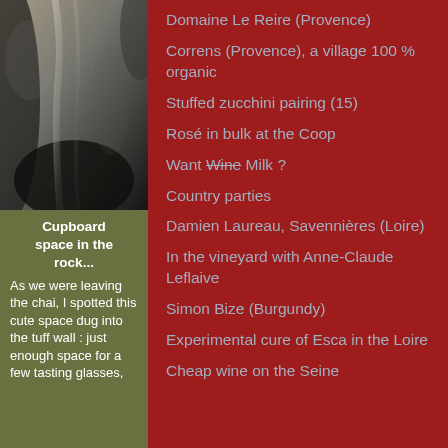[Figure (photo): Close-up black and white photo of rock or stone surface with crevice/crack]
Cupboard space in the rock...
As we were leaving the chai, I spotted this cute space dug into the tuff wall : just enough space for a few tasting glasses,
Domaine Le Reire (Provence)
Correns (Provence), a village 100 % organic
Stuffed zucchini pairing (15)
Rosé in bulk at the Coop
Want Wine Milk ?
Country parties
Damien Laureau, Savennières (Loire)
In the vineyard with Anne-Claude Leflaive
Simon Bize (Burgundy)
Experimental cure of Esca in the Loire
Cheap wine on the Seine